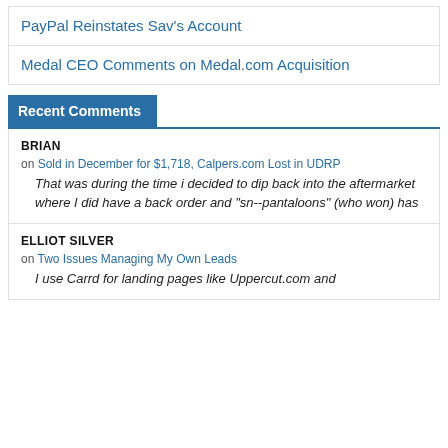PayPal Reinstates Sav's Account
Medal CEO Comments on Medal.com Acquisition
Recent Comments
BRIAN
on Sold in December for $1,718, Calpers.com Lost in UDRP
That was during the time i decided to dip back into the aftermarket where I did have a back order and "sn--pantaloons" (who won) has
ELLIOT SILVER
on Two Issues Managing My Own Leads
I use Carrd for landing pages like Uppercut.com and